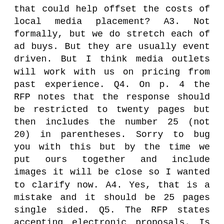that could help offset the costs of local media placement? A3. Not formally, but we do stretch each of ad buys. But they are usually event driven. But I think media outlets will work with us on pricing from past experience. Q4. On p. 4 the RFP notes that the response should be restricted to twenty pages but then includes the number 25 (not 20) in parentheses. Sorry to bug you with this but by the time we put ours together and include images it will be close so I wanted to clarify now. A4. Yes, that is a mistake and it should be 25 pages single sided. Q5. The RFP states accepting electronic proposals. Is that in place of printing? Or, if you prefer printed copies, how many copies do you desire? A5. Yes, I would prefer just one electronic copy instead of a print copy. A pdf is preferred. Q6. What are your goals for downtown? What kind of growth? What is your vision for what Winston-Salem will look like in the next 5-10 years? A6. The Downtown Plan was completed in late It answers these questions in detail. Here is the link Q7. Who would be the primary audience(s) for advertising and other forms of communication? A7. Although this answer is somewhat subjective, it is the local tourist as I call it. People from the Piedmont Triad who we want to spend